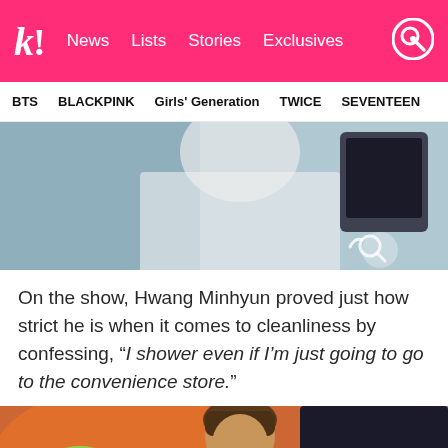k! News Lists Stories Exclusives
BTS  BLACKPINK  Girls' Generation  TWICE  SEVENTEEN
[Figure (photo): Photo of a person wearing a white shirt, partially visible, with a phone screen visible in the background]
On the show, Hwang Minhyun proved just how strict he is when it comes to cleanliness by confessing, “I shower even if I’m just going to go to the convenience store.”
[Figure (photo): Photo of a young man with brown hair in a colorful room with orange, green, and pink foam/cushion decorations]